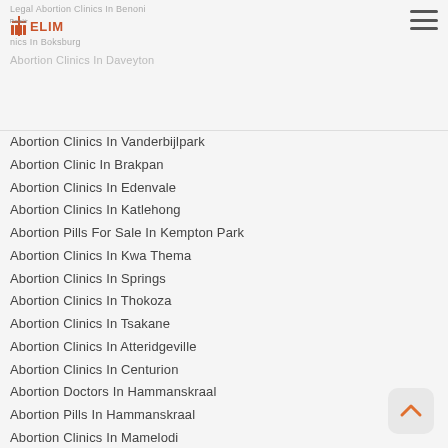Legal Abortion Clinics In Benoni | Pinsekrika ELIM | Abortion Clinics In Boksburg | Abortion Clinics In Daveyton
Abortion Clinics In Vanderbijlpark
Abortion Clinic In Brakpan
Abortion Clinics In Edenvale
Abortion Clinics In Katlehong
Abortion Pills For Sale In Kempton Park
Abortion Clinics In Kwa Thema
Abortion Clinics In Springs
Abortion Clinics In Thokoza
Abortion Clinics In Tsakane
Abortion Clinics In Atteridgeville
Abortion Clinics In Centurion
Abortion Doctors In Hammanskraal
Abortion Pills In Hammanskraal
Abortion Clinics In Mamelodi
Abortion Clinics In Mabopane
Women's Clinic In Centurion
Abortion Pills In Soshanguve
Abortion Pills For Sale In Randfontein